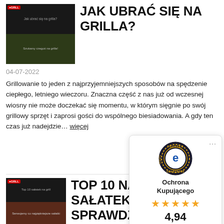[Figure (photo): Thumbnail image collage showing barbecue/grilling scenes]
JAK UBRAĆ SIĘ NA GRILLA?
04-07-2022
Grillowanie to jeden z najprzyjemniejszych sposobów na spędzenie ciepłego, letniego wieczoru. Znaczna część z nas już od wczesnej wiosny nie może doczekać się momentu, w którym sięgnie po swój grillowy sprzęt i zaprosi gości do wspólnego biesiadowania. A gdy ten czas już nadejdzie… więcej
[Figure (infographic): Trusted Shops badge popup showing Ochrona Kupującego label, 4 gold stars, score 4,94, and Bardzo dobry rating]
[Figure (photo): Thumbnail image showing salad dishes for grilling]
TOP 10 NAJLEPSZYCH SAŁATEK NA GRILLA! SPRAWDŹ, CO